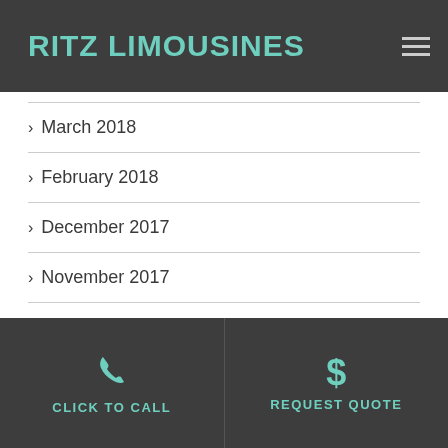RITZ LIMOUSINES
March 2018
February 2018
December 2017
November 2017
September 2017
August 2017
CLICK TO CALL | REQUEST QUOTE